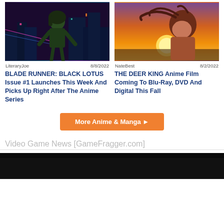[Figure (illustration): Cyberpunk-style anime character (female) with neon city backdrop — Blade Runner: Black Lotus artwork]
LiteraryJoe   8/8/2022
BLADE RUNNER: BLACK LOTUS Issue #1 Launches This Week And Picks Up Right After The Anime Series
[Figure (illustration): Anime girl looking up at sunset sky — The Deer King film still]
NateBest   8/2/2022
THE DEER KING Anime Film Coming To Blu-Ray, DVD And Digital This Fall
More Anime & Manga ►
Video Game News [GameFragger.com]
[Figure (photo): Dark/black background video game screenshot at the bottom of the page]